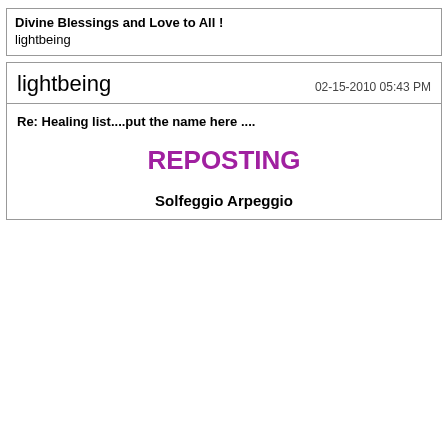Divine Blessings and Love to All !
lightbeing
lightbeing
02-15-2010 05:43 PM
Re: Healing list....put the name here ....
REPOSTING
Solfeggio Arpeggio